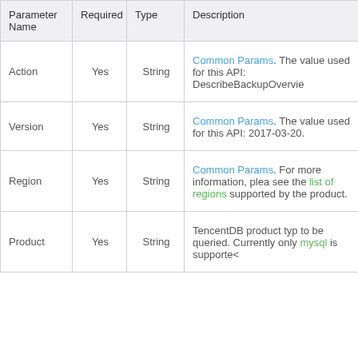| Parameter Name | Required | Type | Description |
| --- | --- | --- | --- |
| Action | Yes | String | Common Params. The value used for this API: DescribeBackupOvervie |
| Version | Yes | String | Common Params. The value used for this API: 2017-03-20. |
| Region | Yes | String | Common Params. For more information, please see the list of regions supported by the product. |
| Product | Yes | String | TencentDB product type to be queried. Currently only mysql is supported |